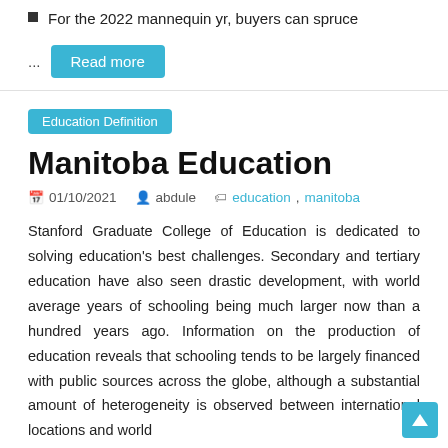For the 2022 mannequin yr, buyers can spruce
...
Read more
Education Definition
Manitoba Education
01/10/2021  abdule  education, manitoba
Stanford Graduate College of Education is dedicated to solving education's best challenges. Secondary and tertiary education have also seen drastic development, with world average years of schooling being much larger now than a hundred years ago. Information on the production of education reveals that schooling tends to be largely financed with public sources across the globe, although a substantial amount of heterogeneity is observed between international locations and world